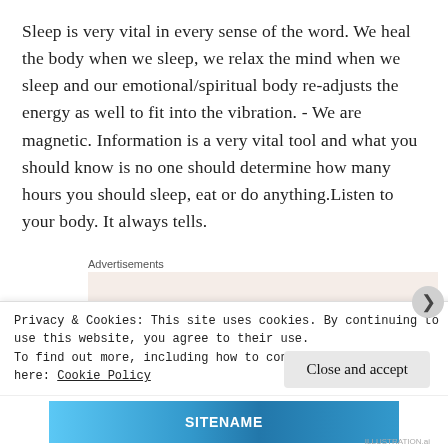Sleep is very vital in every sense of the word. We heal the body when we sleep, we relax the mind when we sleep and our emotional/spiritual body re-adjusts the energy as well to fit into the vibration. - We are magnetic. Information is a very vital tool and what you should know is no one should determine how many hours you should sleep, eat or do anything. Listen to your body. It always tells.
Advertisements
[Figure (other): Advertisement banner with text 'Need a website quickly –' on a beige/cream background]
Privacy & Cookies: This site uses cookies. By continuing to use this website, you agree to their use.
To find out more, including how to control cookies, see here: Cookie Policy
Close and accept